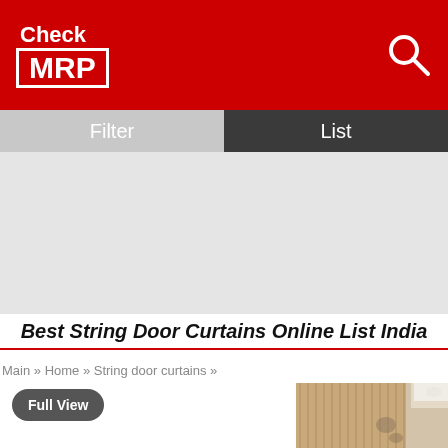Check MRP
Filter | List
[Figure (other): Advertisement placeholder area (gray background)]
Best String Door Curtains Online List India
Main » Home » String door curtains »
Full View
[Figure (photo): Photo of string door curtains — vertical beige/tan strings hanging in a doorway with a white ceiling visible in the background]